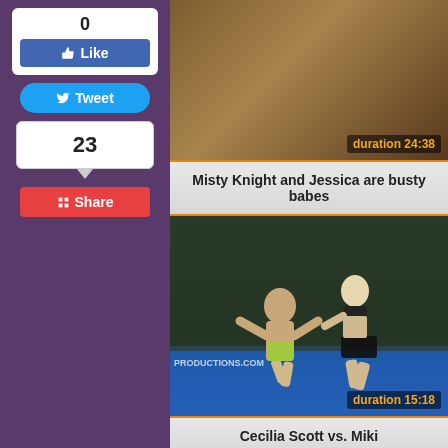[Figure (screenshot): Like button with count 0]
[Figure (screenshot): Tweet button]
23
[Figure (screenshot): Share button]
[Figure (photo): Video thumbnail with duration 24:38]
Misty Knight and Jessica are busty babes
[Figure (photo): Video thumbnail of wrestling match with duration 15:18, watermark PRODUCTIONS.COM]
Cecilia Scott vs. Miki